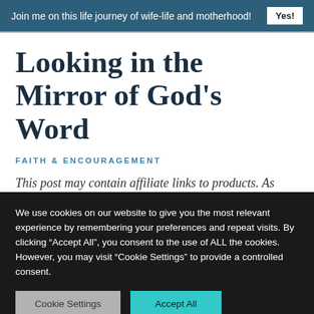Join me on this life journey of wife-life and motherhood! Yes!
Looking in the Mirror of God’s Word
FAITH & ENCOURAGEMENT
This post may contain affiliate links to products. As
We use cookies on our website to give you the most relevant experience by remembering your preferences and repeat visits. By clicking “Accept All”, you consent to the use of ALL the cookies. However, you may visit "Cookie Settings" to provide a controlled consent.
Cookie Settings    Accept All